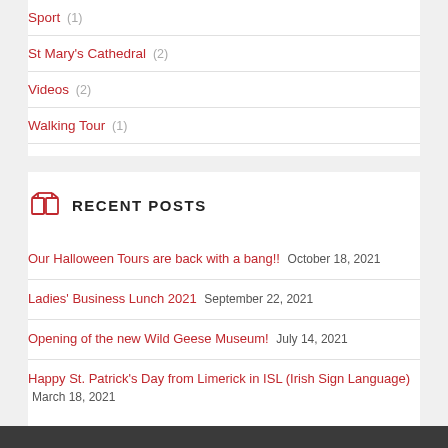Sport (1)
St Mary's Cathedral (2)
Videos (2)
Walking Tour (1)
RECENT POSTS
Our Halloween Tours are back with a bang!! October 18, 2021
Ladies' Business Lunch 2021 September 22, 2021
Opening of the new Wild Geese Museum! July 14, 2021
Happy St. Patrick's Day from Limerick in ISL (Irish Sign Language) March 18, 2021